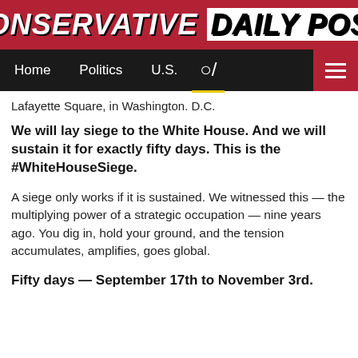CONSERVATIVE DAILY POST
Home  Politics  U.S.
Lafayette Square, in Washington. D.C.
We will lay siege to the White House. And we will sustain it for exactly fifty days. This is the #WhiteHouseSiege.
A siege only works if it is sustained. We witnessed this — the multiplying power of a strategic occupation — nine years ago. You dig in, hold your ground, and the tension accumulates, amplifies, goes global.
Fifty days — September 17th to November 3rd.